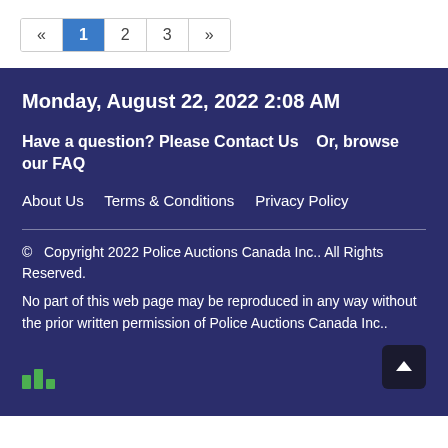« 1 2 3 »
Monday, August 22, 2022 2:08 AM
Have a question? Please Contact Us    Or, browse our FAQ
About Us    Terms & Conditions    Privacy Policy
© Copyright 2022 Police Auctions Canada Inc.. All Rights Reserved.
No part of this web page may be reproduced in any way without the prior written permission of Police Auctions Canada Inc..